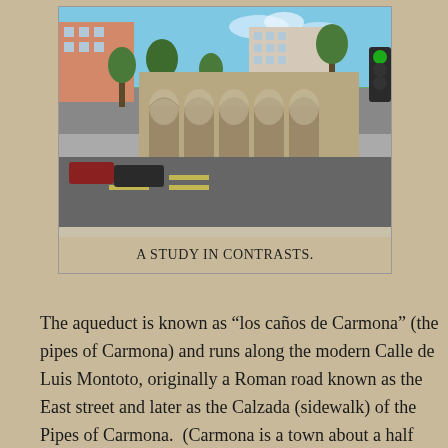[Figure (photo): Street-level photo showing a Roman aqueduct (los caños de Carmona) with stone arches alongside a modern urban road with traffic lights and apartment buildings in Spain.]
A STUDY IN CONTRASTS.
The aqueduct is known as “los caños de Carmona” (the pipes of Carmona) and runs along the modern Calle de Luis Montoto, originally a Roman road known as the East street and later as the Calzada (sidewalk) of the Pipes of Carmona.  (Carmona is a town about a half hour east of Sevilla, famous for its Roman